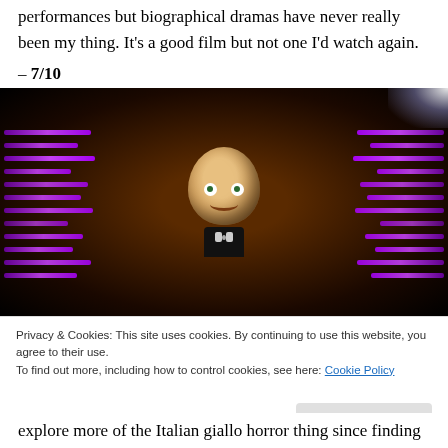performances but biographical dramas have never really been my thing. It's a good film but not one I'd watch again. – 7/10
[Figure (photo): Dark cinematic still showing a puppet or animatronic figure with wide eyes and a bow tie, flanked by purple neon light streaks on both sides and a white light flare in the top right corner.]
Privacy & Cookies: This site uses cookies. By continuing to use this website, you agree to their use.
To find out more, including how to control cookies, see here: Cookie Policy
[Close and accept button]
explore more of the Italian giallo horror thing since finding